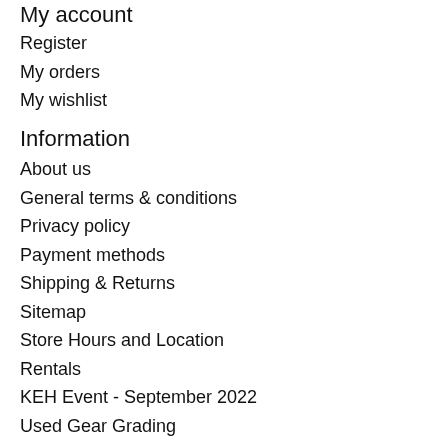My account
Register
My orders
My wishlist
Information
About us
General terms & conditions
Privacy policy
Payment methods
Shipping & Returns
Sitemap
Store Hours and Location
Rentals
KEH Event - September 2022
Used Gear Grading